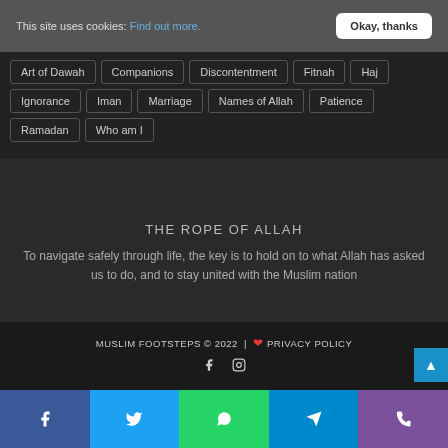This site uses cookies: Find out more.  [Okay, thanks]
Art of Dawah
Companions
Discontentment
Fitnah
Haj
Ignorance
Iman
Marriage
Names of Allah
Patience
Ramadan
Who am I
THE ROPE OF ALLAH
To navigate safely through life, the key is to hold on to what Allah has asked us to do, and to stay united with the Muslim nation
MUSLIM FOOTSTEPS © 2022  |  ❤ PRIVACY POLICY